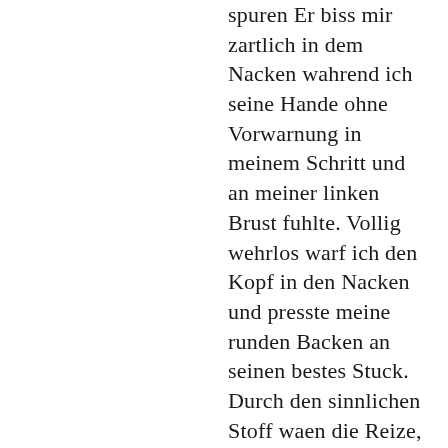spuren Er biss mir zartlich in dem Nacken wahrend ich seine Hande ohne Vorwarnung in meinem Schritt und an meiner linken Brust fuhlte. Vollig wehrlos warf ich den Kopf in den Nacken und presste meine runden Backen an seinen bestes Stuck. Durch den sinnlichen Stoff waen die Reize, die seine frechen Finger an meiner Bruustwzrze auslosten, noch intensiver. Seinme andere Hand hatte zielstrebig meine empfindlichste Stelle gefunden